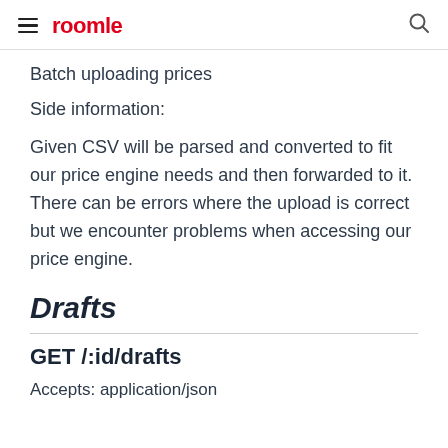roomle
Batch uploading prices
Side information:
Given CSV will be parsed and converted to fit our price engine needs and then forwarded to it. There can be errors where the upload is correct but we encounter problems when accessing our price engine.
Drafts
GET /:id/drafts
Accepts: application/json